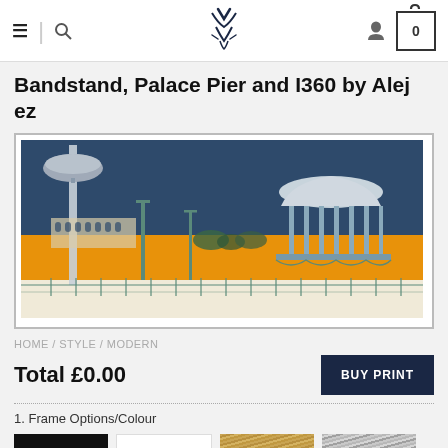Navigation header with menu, search, logo, user and cart icons
Bandstand, Palace Pier and I360 by Alej ez
[Figure (illustration): Stylised print illustration of Brighton seafront showing the i360 tower on the left, Palace Pier and a bandstand on the right, with a dark navy sky, orange/amber midsection, and cream/white foreground featuring teal metalwork railings and structures.]
HOME / STYLE / MODERN
Total £0.00
BUY PRINT
1. Frame Options/Colour
[Figure (other): Four frame colour swatches: black, white, natural wood, and silver/brushed metal]